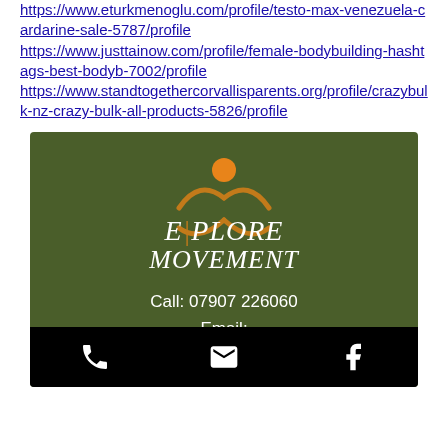https://www.eturkmenoglu.com/profile/testo-max-venezuela-cardarine-sale-5787/profile https://www.justtainow.com/profile/female-bodybuilding-hashtags-best-bodyb-7002/profile https://www.standtogethercorvallisparents.org/profile/crazybulk-nz-crazy-bulk-all-products-5826/profile
[Figure (logo): Explore Movement logo on dark green background with stylized figure and orange circle, contact info: Call: 07907 226060, Email: exploremovementcouk@gmail.com]